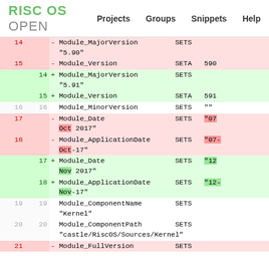RISC OS OPEN  Projects  Groups  Snippets  Help
| old | new | content |
| --- | --- | --- |
| 14 |  | - Module_MajorVersion  SETS  "5.90" |
| 15 |  | - Module_Version  SETA  590 |
|  | 14 | + Module_MajorVersion  SETS  "5.91" |
|  | 15 | + Module_Version  SETA  591 |
| 16 | 16 |   Module_MinorVersion  SETS  "" |
| 17 |  | - Module_Date  SETS  "07 Oct 2017" |
| 18 |  | - Module_ApplicationDate  SETS  "07-Oct-17" |
|  | 17 | + Module_Date  SETS  "12 Nov 2017" |
|  | 18 | + Module_ApplicationDate  SETS  "12-Nov-17" |
| 19 | 19 |   Module_ComponentName  SETS  "Kernel" |
| 20 | 20 |   Module_ComponentPath  SETS  "castle/RiscOS/Sources/Kernel" |
| 21 |  | - Module_FullVersion  SETS |